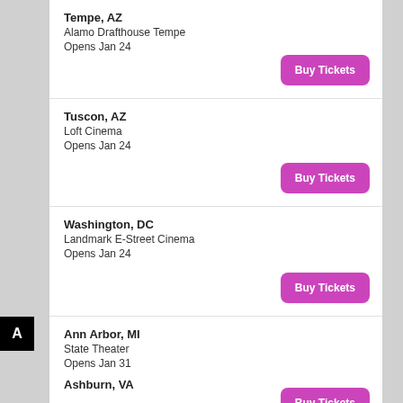Tempe, AZ
Alamo Drafthouse Tempe
Opens Jan 24
[Buy Tickets]
Tuscon, AZ
Loft Cinema
Opens Jan 24
[Buy Tickets]
Washington, DC
Landmark E-Street Cinema
Opens Jan 24
[Buy Tickets]
Ann Arbor, MI
State Theater
Opens Jan 31
[Buy Tickets]
Ashburn, VA